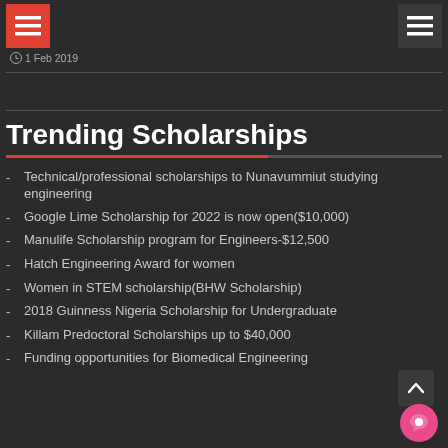1 Feb 2019
Trending Scholarships
Technical/professional scholarships to Nunavummiut studying engineering
Google Lime Scholarship for 2022 is now open($10,000)
Manulife Scholarship program for Engineers-$12,500
Hatch Engineering Award for women
Women in STEM scholarship(BHW Scholarship)
2018 Guinness Nigeria Scholarship for Undergraduate
Killam Predoctoral Scholarships up to $40,000
Funding opportunities for Biomedical Engineering